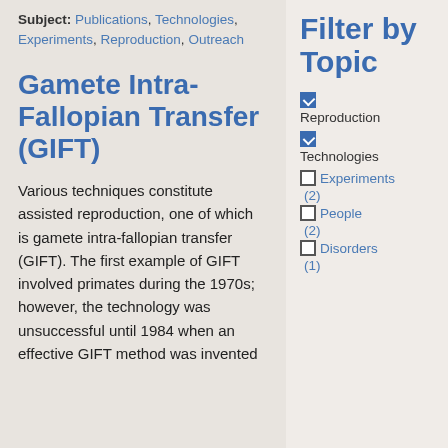Subject: Publications, Technologies, Experiments, Reproduction, Outreach
Gamete Intra-Fallopian Transfer (GIFT)
Various techniques constitute assisted reproduction, one of which is gamete intra-fallopian transfer (GIFT). The first example of GIFT involved primates during the 1970s; however, the technology was unsuccessful until 1984 when an effective GIFT method was invented
Filter by Topic
Reproduction (checked)
Technologies (checked)
Experiments (2)
People (2)
Disorders (1)